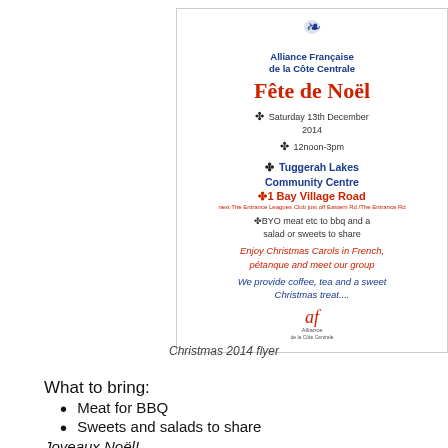[Figure (illustration): Christmas 2014 flyer for Alliance Française de la Côte Centrale announcing Fête de Noël event on Saturday 13th December 2014, 12noon-3pm at Tuggerah Lakes Community Centre, 1 Bay Village Road. Includes BYO BBQ info, Christmas Carols in French, pétanque, coffee and tea. Contains Alliance Française logo at top and bottom.]
Christmas 2014 flyer
What to bring:
Meat for BBQ
Sweets and salads to share
Joyeaux Noël!